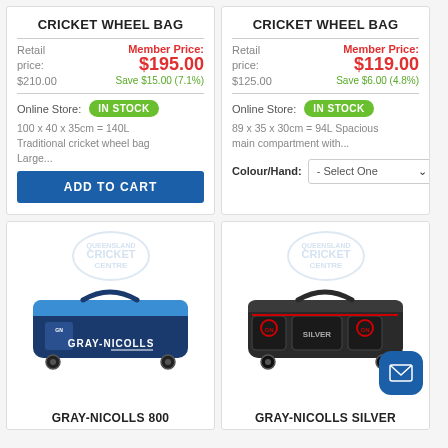CRICKET WHEEL BAG
Retail price: $210.00 | Member Price: $195.00 | Save $15.00 (7.1%)
Online Store: IN STOCK
100 x 40 x 35cm = 140L Traditional cricket wheel bag Large...
ADD TO CART
CRICKET WHEEL BAG
Retail price: $125.00 | Member Price: $119.00 | Save $6.00 (4.8%)
Online Store: IN STOCK
89 x 35 x 30cm = 94L Spacious main compartment with...
Colour/Hand: - Select One
[Figure (photo): Gray-Nicolls 800 cricket wheel bag in navy blue and light blue colors with Gray-Nicolls branding]
GRAY-NICOLLS 800
[Figure (photo): Gray-Nicolls Silver cricket wheel bag in dark gray/black with red accents and Silver branding]
GRAY-NICOLLS SILVER